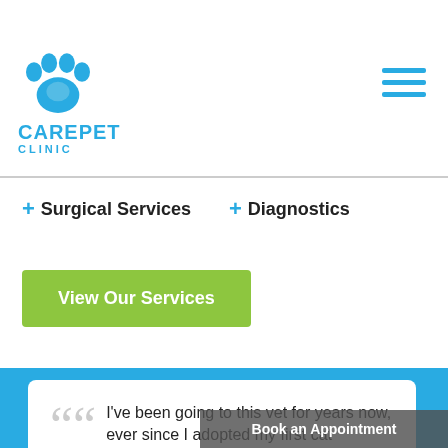[Figure (logo): CarePet Clinic logo with blue paw print icon above the text CAREPET CLINIC]
+ Surgical Services   + Diagnostics
View Our Services
"I've been going to this vet for years now, ever since I adopted my first cat
Book an Appointment